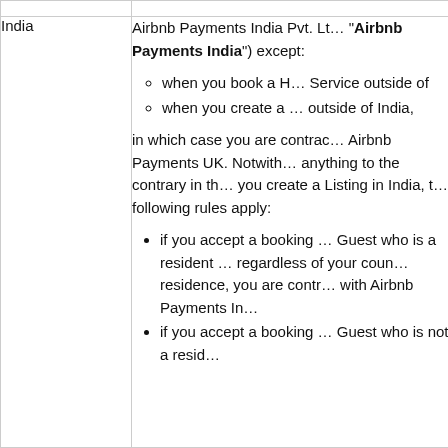| Region | Details |
| --- | --- |
|  |  |
| India | Airbnb Payments India Pvt. Lt… ("Airbnb Payments India") except: [circle] when you book a H… Service outside of [circle] when you create a … outside of India, in which case you are contrac… Airbnb Payments UK. Notwith… anything to the contrary in th… you create a Listing in India, t… following rules apply: [bullet] if you accept a booking … Guest who is a resident … regardless of your coun… residence, you are contr… with Airbnb Payments In… [bullet] if you accept a booking … Guest who is not a resid… |